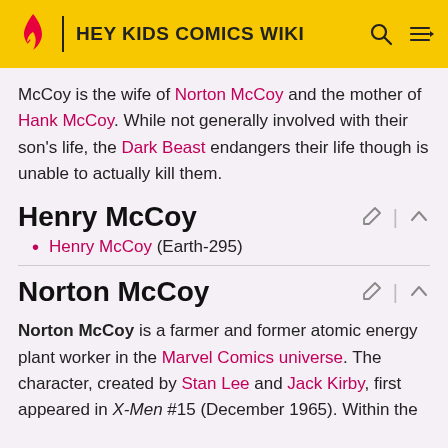HEY KIDS COMICS WIKI
McCoy is the wife of Norton McCoy and the mother of Hank McCoy. While not generally involved with their son’s life, the Dark Beast endangers their life though is unable to actually kill them.
Henry McCoy
Henry McCoy (Earth-295)
Norton McCoy
Norton McCoy is a farmer and former atomic energy plant worker in the Marvel Comics universe. The character, created by Stan Lee and Jack Kirby, first appeared in X-Men #15 (December 1965). Within the